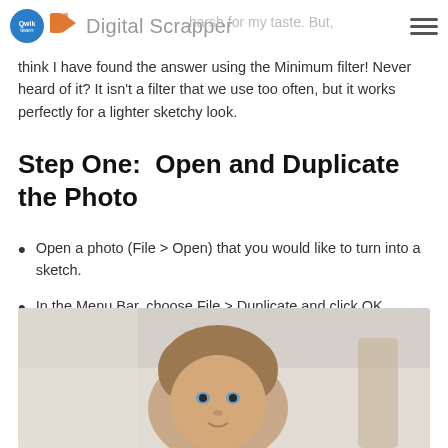Digital Scrapper
think I have found the answer using the Minimum filter! Never heard of it? It isn't a filter that we use too often, but it works perfectly for a lighter sketchy look.
Step One:  Open and Duplicate the Photo
Open a photo (File > Open) that you would like to turn into a sketch.
In the Menu Bar, choose File > Duplicate and click OK. (Photoshop: Choose Image > Duplicate.)
Close the original photo.
[Figure (photo): A photograph of a young toddler with brownish hair and blue eyes, photographed indoors on a light-colored floor.]